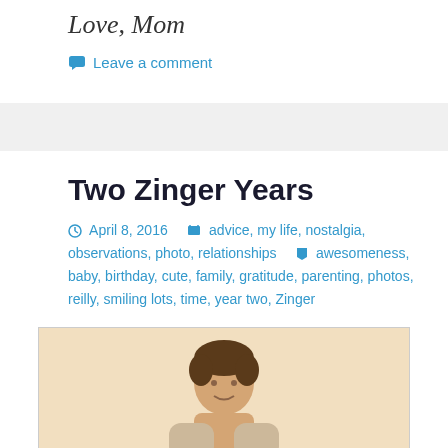Love, Mom
Leave a comment
Two Zinger Years
April 8, 2016   advice, my life, nostalgia, observations, photo, relationships   awesomeness, baby, birthday, cute, family, gratitude, parenting, photos, reilly, smiling lots, time, year two, Zinger
[Figure (photo): A photograph of a young child with dark hair, shown from roughly mid-torso up against a warm beige/cream background.]